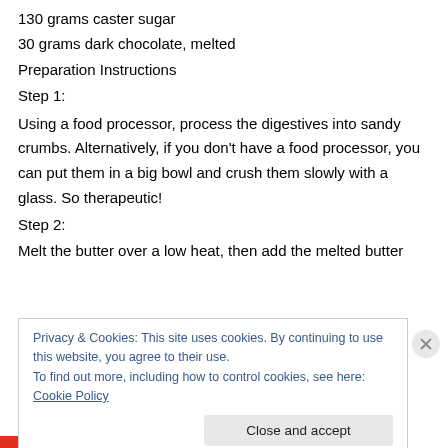130 grams caster sugar
30 grams dark chocolate, melted
Preparation Instructions
Step 1:
Using a food processor, process the digestives into sandy crumbs. Alternatively, if you don't have a food processor, you can put them in a big bowl and crush them slowly with a glass. So therapeutic!
Step 2:
Melt the butter over a low heat, then add the melted butter
Privacy & Cookies: This site uses cookies. By continuing to use this website, you agree to their use. To find out more, including how to control cookies, see here: Cookie Policy
Close and accept